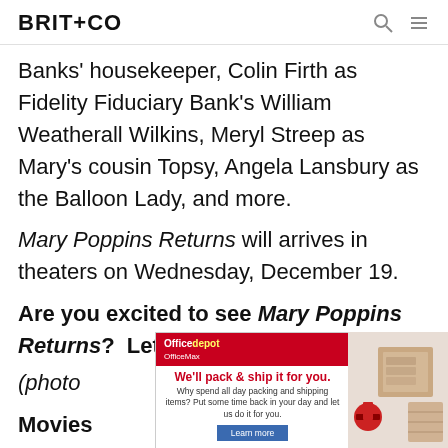BRIT+CO
Banks' housekeeper, Colin Firth as Fidelity Fiduciary Bank's William Weatherall Wilkins, Meryl Streep as Mary's cousin Topsy, Angela Lansbury as the Balloon Lady, and more.
Mary Poppins Returns will arrives in theaters on Wednesday, December 19.
Are you excited to see Mary Poppins Returns? Let us know @BritandCo!
(photo
[Figure (screenshot): Office Depot OfficeMax advertisement: We'll pack & ship it for you. Why spend all day packing and shipping items? Put some time back in your day and let us do it for you. Learn more button.]
[Figure (photo): Photo showing hands packing items in a box with bubble wrap, tape gun, and shipping supplies on a light background.]
Movies